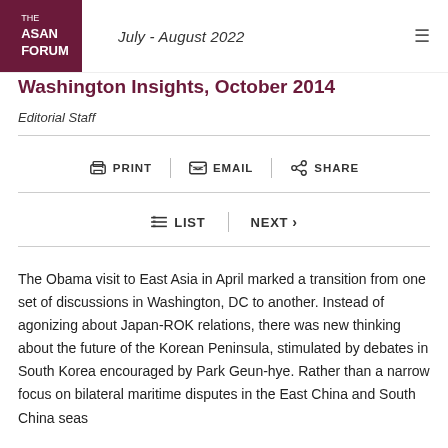July - August 2022
Washington Insights, October 2014
Editorial Staff
PRINT  EMAIL  SHARE
LIST  NEXT >
The Obama visit to East Asia in April marked a transition from one set of discussions in Washington, DC to another. Instead of agonizing about Japan-ROK relations, there was new thinking about the future of the Korean Peninsula, stimulated by debates in South Korea encouraged by Park Geun-hye. Rather than a narrow focus on bilateral maritime disputes in the East China and South China seas